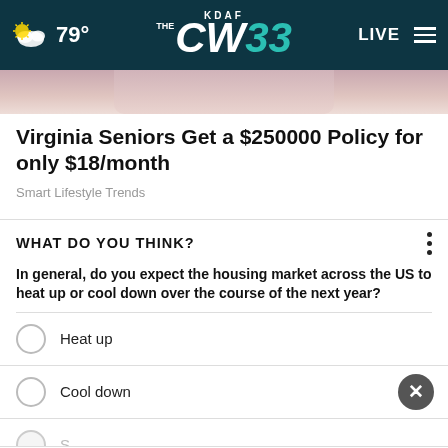79° KDAF CW33 LIVE
[Figure (photo): Partial image of a person in light pink/lavender clothing]
Virginia Seniors Get a $250000 Policy for only $18/month
Smart Lifestyle Trends
WHAT DO YOU THINK?
In general, do you expect the housing market across the US to heat up or cool down over the course of the next year?
Heat up
Cool down
[Figure (screenshot): Goodyear Tire Promotion advertisement — Virginia Tire & Auto of Ashburn]
Goodyear Tire Promotion
Virginia Tire & Auto of Ashburn